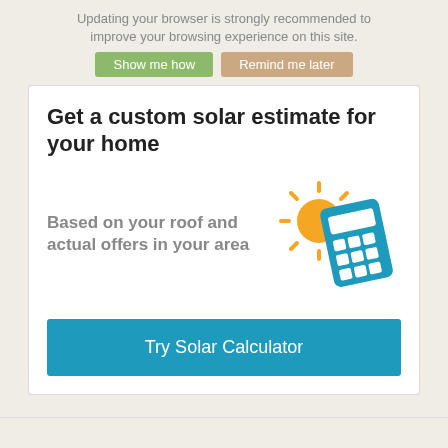Updating your browser is strongly recommended to improve your browsing experience on this site.
Show me how | Remind me later
Get a custom solar estimate for your home
Based on your roof and actual offers in your area
[Figure (illustration): Solar calculator icon: a blue calculator with an orange sun behind it, sun rays radiating outward]
Try Solar Calculator
Why Work with Solar Mite Solutions